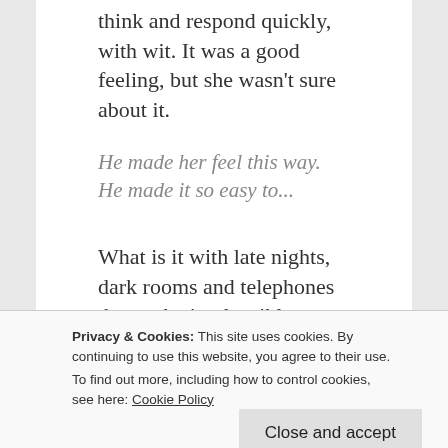think and respond quickly, with wit. It was a good feeling, but she wasn't sure about it.
He made her feel this way. He made it so easy to...
What is it with late nights, dark rooms and telephones that make implausible conversations
Privacy & Cookies: This site uses cookies. By continuing to use this website, you agree to their use.
To find out more, including how to control cookies, see here: Cookie Policy
Close and accept
she walked back to the couch, expecting him to